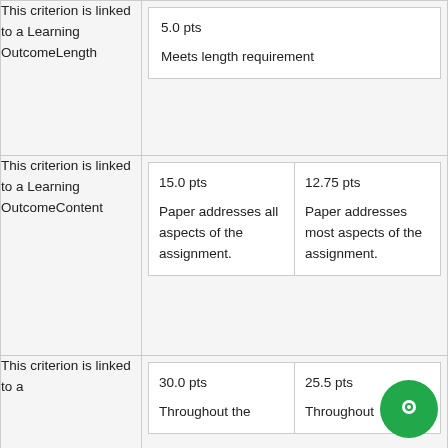| Criterion | 5.0 pts |  |
| --- | --- | --- |
| This criterion is linked to a Learning OutcomeLength | 5.0 pts
Meets length requirement |  |
| This criterion is linked to a Learning OutcomeContent | 15.0 pts
Paper addresses all aspects of the assignment. | 12.75 pts
Paper addresses most aspects of the assignment. |
| This criterion is linked to a | 30.0 pts
Throughout the | 25.5 pts
Throughout |